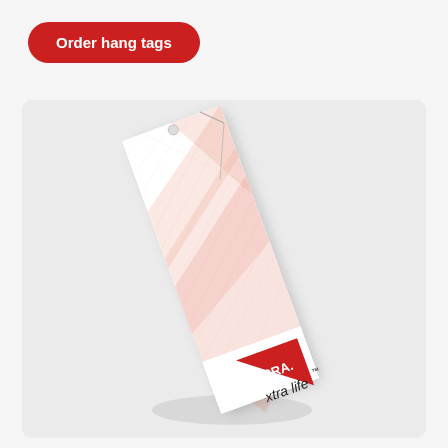Order hang tags
[Figure (photo): A LYCRA xtra life branded hang tag shown at an angle, with a thin wire through a hole at the top. The tag features a geometric pattern in pink and salmon tones with fine lines, a red triangular LYCRA logo, and 'xtra life' text at the bottom.]